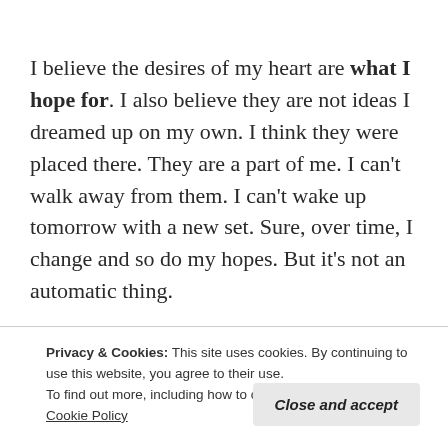I believe the desires of my heart are what I hope for. I also believe they are not ideas I dreamed up on my own. I think they were placed there. They are a part of me. I can’t walk away from them. I can’t wake up tomorrow with a new set. Sure, over time, I change and so do my hopes. But it’s not an automatic thing.
Hope is a word thrown around. I hope the sun shines tomorrow. I hope I’m receiving. I hope th…
Privacy & Cookies: This site uses cookies. By continuing to use this website, you agree to their use.
To find out more, including how to control cookies, see here: Cookie Policy
Close and accept
A friend pointed out last week that the Greek